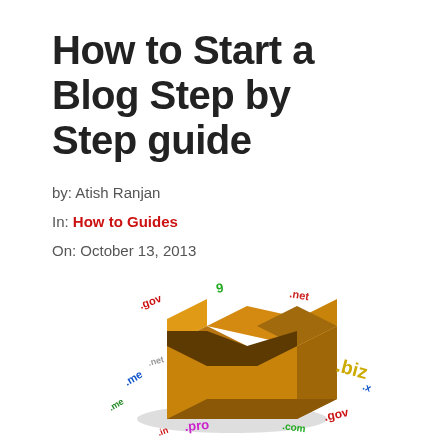How to Start a Blog Step by Step guide
by: Atish Ranjan
In: How to Guides
On: October 13, 2013
[Figure (illustration): 3D illustration of an open cardboard box with colorful domain name extensions (.biz, .net, .org, .pro, .com, .gov, etc.) scattered around it]
Hello Guys, this is going to be the second blog post on this